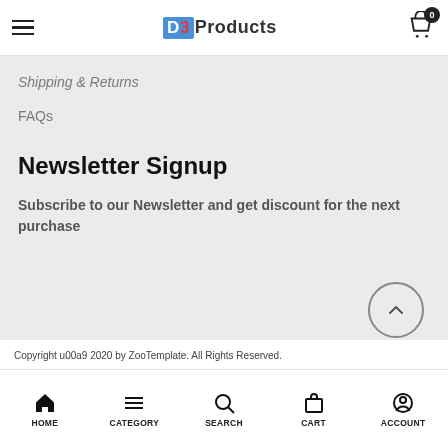D3 Products — header with hamburger menu and cart (0)
Shipping & Returns
FAQs
Newsletter Signup
Subscribe to our Newsletter and get discount for the next purchase
Copyright u00a9 2020 by ZooTemplate. All Rights Reserved.
HOME | CATEGORY | SEARCH | CART | ACCOUNT